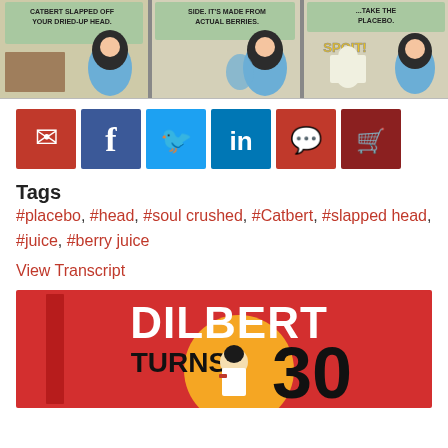[Figure (illustration): Dilbert comic strip panels showing characters including a woman with black hair and Catbert. Three panels visible at top of page.]
[Figure (infographic): Row of social sharing buttons: email (red envelope), Facebook (dark blue f), Twitter (light blue bird), LinkedIn (blue in), comments (red speech bubble), cart (dark red shopping cart).]
Tags
#placebo, #head, #soul crushed, #Catbert, #slapped head, #juice, #berry juice
View Transcript
[Figure (illustration): Book cover: red background with 'DILBERT TURNS 30' text in large white and black letters, with cartoon Dilbert character.]